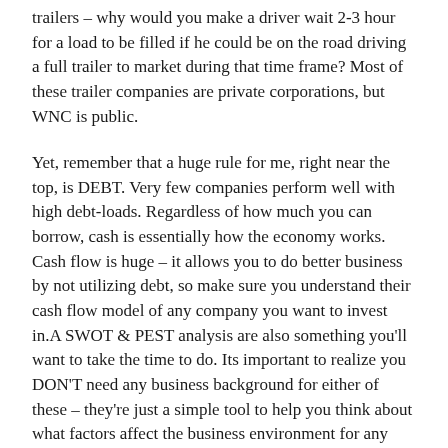trailers – why would you make a driver wait 2-3 hour for a load to be filled if he could be on the road driving a full trailer to market during that time frame? Most of these trailer companies are private corporations, but WNC is public.
Yet, remember that a huge rule for me, right near the top, is DEBT. Very few companies perform well with high debt-loads. Regardless of how much you can borrow, cash is essentially how the economy works. Cash flow is huge – it allows you to do better business by not utilizing debt, so make sure you understand their cash flow model of any company you want to invest in.A SWOT & PEST analysis are also something you'll want to take the time to do. Its important to realize you DON'T need any business background for either of these – they're just a simple tool to help you think about what factors affect the business environment for any specific company or industry. Remember back to my TRIAGE mentality of investing.